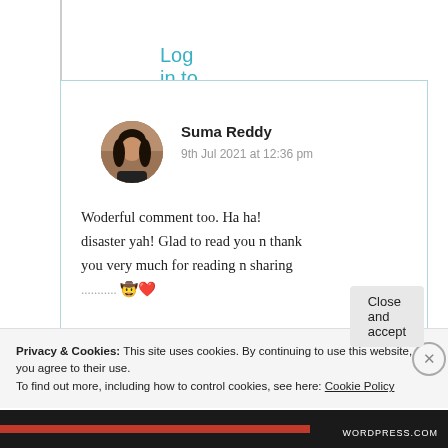Log in to Reply
[Figure (illustration): Circular avatar photo of Suma Reddy, a woman with dark hair against a blurred background]
Suma Reddy
9th Jul 2021 at 12:36 pm
Woderful comment too. Ha ha! disaster yah! Glad to read you n thank you very much for reading n sharing
Privacy & Cookies: This site uses cookies. By continuing to use this website, you agree to their use.
To find out more, including how to control cookies, see here: Cookie Policy
Close and accept